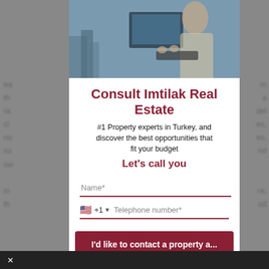[Figure (photo): Screenshot of a popup/modal for Imtilak Real Estate consultation form, overlaid on a blurred webpage background. The top portion shows a photo of a person working at a desktop computer.]
Consult Imtilak Real Estate
#1 Property experts in Turkey, and discover the best opportunities that fit your budget
Let's call you
Name*
+1  Telephone number*
I'd like to contact a property a...
The consultation is completely free